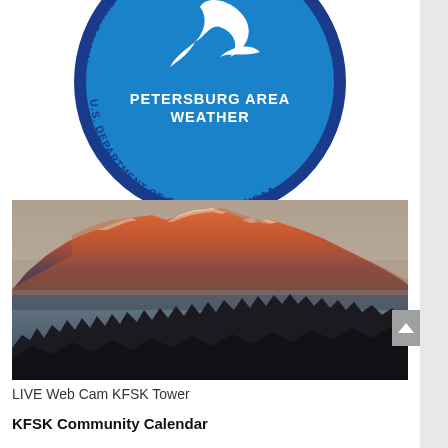[Figure (logo): NOAA / NWS circular seal logo with text 'PETERSBURG AREA WEATHER' in center, surrounding text 'NATIONAL WEATHER SERVICE U.S. DEPARTMENT OF COMMERCE NOAA' in dark blue on blue background with white bird graphic]
[Figure (photo): LIVE webcam image from KFSK Tower showing snow-capped mountains illuminated in orange/red alpenglow at dusk/dawn, with dark water in the foreground middle ground and silhouetted evergreen trees in the foreground. Mist or fog over the water.]
LIVE Web Cam KFSK Tower
KFSK Community Calendar